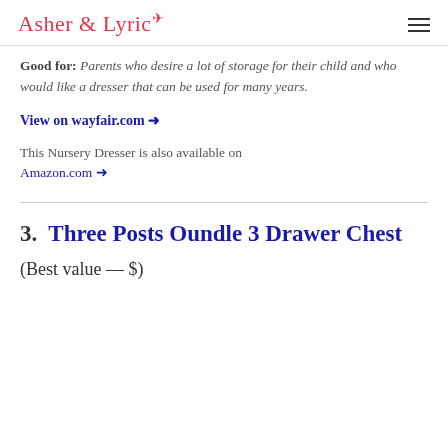Asher & Lyric
Good for: Parents who desire a lot of storage for their child and who would like a dresser that can be used for many years.
View on wayfair.com →
This Nursery Dresser is also available on Amazon.com →
3.  Three Posts Oundle 3 Drawer Chest
(Best value — $)